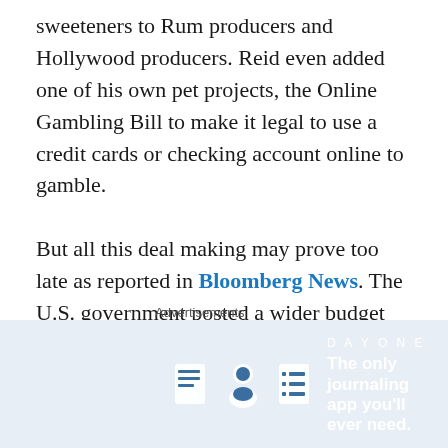sweeteners to Rum producers and Hollywood producers. Reid even added one of his own pet projects, the Online Gambling Bill to make it legal to use a credit cards or checking account online to gamble.

But all this deal making may prove too late as reported in Bloomberg News. The U.S. government posted a wider budget deficit in November as spending swelled compared with the same time last year. The deficit was $150.4 billion last month, exceeding the median estimate of economists surveyed by Bloomberg News, compared with $120.3 billion in November 2009, according to the Treasury Department's budget statement released in Washington. The budget shortfall will reach a record $1.5 trillion this
Advertisements
[Figure (other): Day One journaling app advertisement banner with icons of a book, person, and list on a blue starry background. Tagline: 'The only journaling app you'll ever need.']